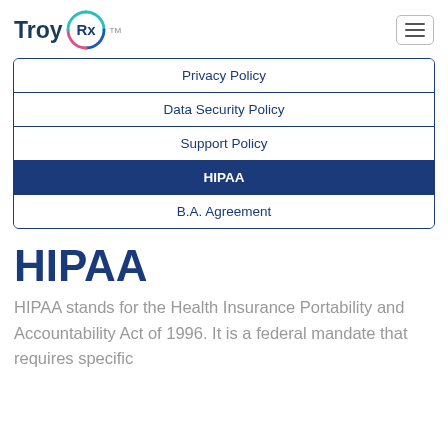[Figure (logo): Troy Rx logo with circular Rx symbol in teal/blue/red gradient]
| Privacy Policy |
| Data Security Policy |
| Support Policy |
| HIPAA |
| B.A. Agreement |
HIPAA
HIPAA stands for the Health Insurance Portability and Accountability Act of 1996. It is a federal mandate that requires specific